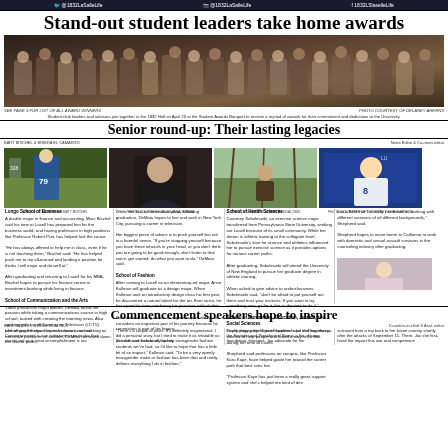@1832LaSalleLife   @1832LaSalleLife   f1832LSlaselleLife
Stand-out student leaders take home awards
[Figure (photo): Group photo of student leaders and advisors at the 1832 Hall on April 20 at the Student Awards Banquet to receive a myriad of awards for their commitment and dedication to the University.]
SEE PAGE 3 FOR LIST OF ALL AWARD WINNERS   PHOTO COURTESY OF DELANEY AHERNS
Student club leaders and advisors join together in the 1832 Hall on April 20 at the Student Awards Banquet to recieve a myriad of awards for their commitment and dedication to the University.
Senior round-up: Their lasting legacies
BART BISCHEL & BRIEDA EL CAMARGO
News Editor & Co-news editor
[Figure (photo): Baseball player #79 batting]
[Figure (photo): Female student portrait]
[Figure (photo): Student outdoors in wooded area]
[Figure (photo): Female athlete in Lasell #8 jersey]
Longo School of Business
A double major in finance and accounting, Marc Bischel said his time at Lasell has prepared him for the business world, and having professors in high positions like Professor Robert Putt, has helped fuel the cause.
"He has always offered to help me in class, even if he is not teaching them," Bischel said. "He has helped push me to my all-around and landing a position he thinks I will major and do well at."
After graduating and returning to Lasell for his MBA, Bischel hopes to pursue his finance career in investment banking while living in finance.
School of Communication and the Arts
Video production major Adams DeMaia found her passion while taking a communications course in high school, tasked with creating the morning news. Also working with Lasell Community Television (LCTV), performing the show, Laser Inclusion, and working as executive producer on another, DeMaia narrowed down her career path.
While she has no immediate plans following graduation, DeMaia hopes to live and work in New York City, pursuing a career in television.
Her biggest piece of advice is to push yourself but not in a harmful sense. "If you're stopping yourself because you have these what-ifs in your head, or you don't think you are going to be good enough, don't listen to that voice, get started, do what you want to do," DeMaia said.
School of Fashion
After coming to Lasell as an elementary-ed major, Anne Kallman will graduate as a design major. When Kallman took an introduction design class his first year, he discovered a natural talent for the art. Ever since, he has spent his time combining his passions with clothes.
Kallman said being an out transgender man whose he considers an important part of his journey because he connection is part of his legacy.
"I'm not sure how many openly transgender fashion students we've had, so I'd like to hope that has a little bit of an impact," Kallman said. "To be a very openly transgender make or fashion has been that and really defines everything I do in fashion."
School of Health Sciences
Courtney Sobolewksi, an exercise science major transferred from Pennsylvania State University, seeking out Lasell because of its small community. While her dream is athletic training at the collegiate level, Soboleswki's love for science and athletics influenced her to pursue exercise science as it provides options for various career paths.
After graduating, Soboleswski will attend the University of New England to pursue her graduate degree in athletic training.
When asked to give advice to underclassmen, Soboleswki said, "don't be afraid to put yourself out there and trust your instincts. If you want to try something new, go for it, this is the time to do it."
School of Humanities, Education, Justice, and Social Sciences
Psychology major Ciara Shepherd said she has always wanted to help people and found a way to do that during her time at Lasell.
Shepherd said professors on campus, like Professor Kara Kaye, have helped guide her toward the career path that best suits her.
"Professor Kaye has just been a really great support system and she's helped me kind of dev
into a field that I'm really interested in, working with different survivors of all different backgrounds," Shepherd said.
Shepherd hopes to move home to California to work with domestic and sexual assault survivors in the counseling industry after graduating.
Commencement speakers hope to inspire
KARL BINDLEY & BREE BLALOCK
Co-editor-in-chief & Asst. editor
Like all great things, they must come to an end. Commencement is one milestone in particular that stands out as a great accomplishment is acc
"There's a couple of jokes. It's definitely inspirational. I did a personal story, but I tried to make it as relatable as possible and include all the key
Lastly, joining the keynote speaker is (or it all together is the Founder and President of Buena a flor of hope foundation, therapist, Jas advocate for her
surround from a trip back to her home country shortly after the attacks of September 11. There, Jas she first-hand the impact this war and competence